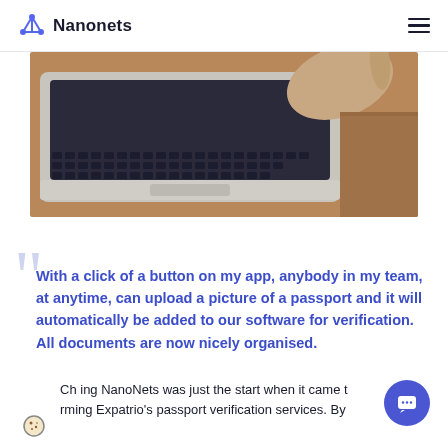Nanonets
[Figure (photo): Close-up photo of a person's hand typing on a MacBook laptop keyboard on a wooden desk surface]
With a click of a button on my app, anybody in my team, at anytime, can upload a picture of a passport and it will automatically be added to our software for verification. All documents are now nicely organised.
Choosing NanoNets was just the start when it came to transforming Expatrio's passport verification services. By